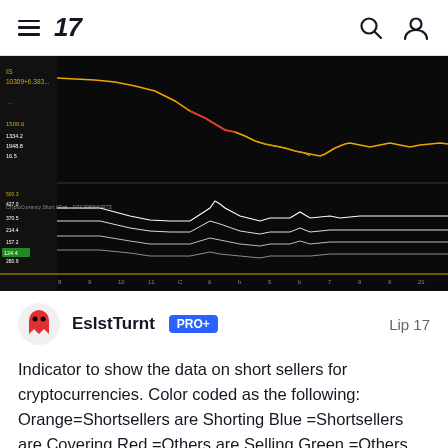TradingView navigation bar with hamburger menu, logo '17', search icon, and user icon
[Figure (screenshot): TradingView chart screenshot showing a cryptocurrency price chart on a black background. Top panel shows a downward-trending candlestick/line chart in orange/yellow/red colors from a high level down to lower levels. Bottom panel shows a crypto short data indicator (CryptoCurrency Short Ratio) with multiple white lines on black background, showing stepped movements. X-axis shows time labels. Y-axis shows price/value labels in yellow and white.]
EsIstTurnt PRO+ Lip 17
Indicator to show the data on short sellers for cryptocurrencies. Color coded as the following: Orange=Shortsellers are Shorting Blue =Shortsellers are Covering Red =Others are Selling Green =Others are Buyi